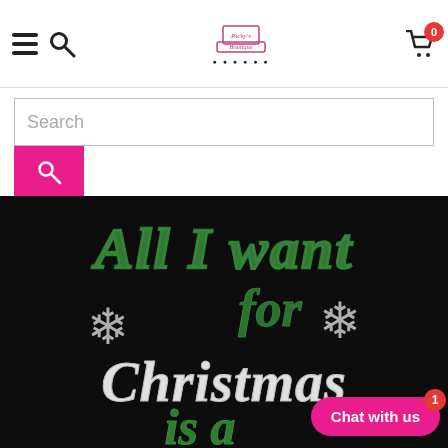[Figure (screenshot): E-commerce website header with hamburger menu, search icon, boutique logo, and shopping cart with badge showing 0]
[Figure (screenshot): Search bar with text input showing placeholder 'Search' and a pink search button below]
[Figure (photo): Black t-shirt or fabric with rhinestone text reading 'All I want for Christmas is a...' in green and white crystal/rhinestone lettering with snowflake decorations]
[Figure (other): Pink 'Chat with us' button with red badge showing number 1 in bottom right corner]